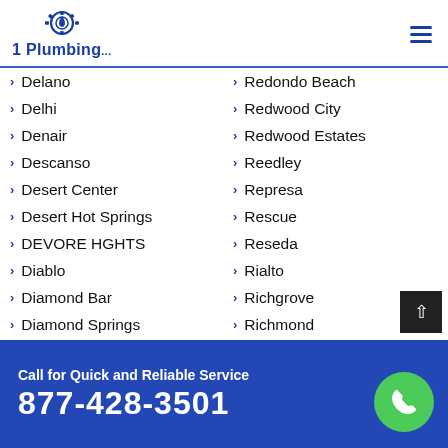[Figure (logo): 1 Plumbing logo with water drop and gear icon in blue]
Delano
Delhi
Denair
Descanso
Desert Center
Desert Hot Springs
DEVORE HGHTS
Diablo
Diamond Bar
Diamond Springs
Dillon Beach
Redondo Beach
Redwood City
Redwood Estates
Reedley
Represa
Rescue
Reseda
Rialto
Richgrove
Richmond
Ridgecrest
Call for Quick and Reliable Service
877-428-3501